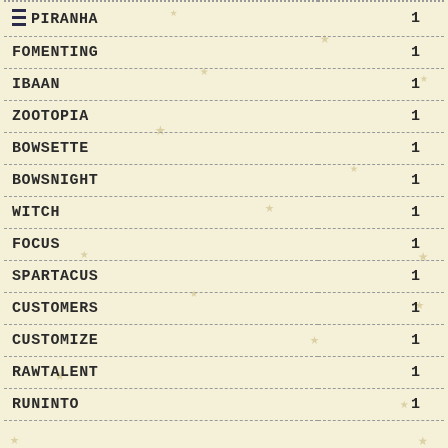| Name | Count |
| --- | --- |
| PIRANHA | 1 |
| FOMENTING | 1 |
| IBAAN | 1 |
| ZOOTOPIA | 1 |
| BOWSETTE | 1 |
| BOWSNIGHT | 1 |
| WITCH | 1 |
| FOCUS | 1 |
| SPARTACUS | 1 |
| CUSTOMERS | 1 |
| CUSTOMIZE | 1 |
| RAWTALENT | 1 |
| RUNINTO | 1 |